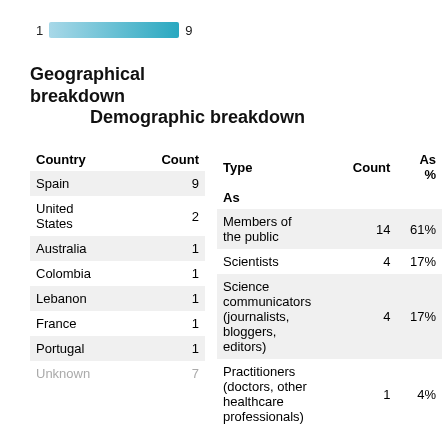[Figure (other): Color scale bar from 1 to 9 with teal gradient]
Geographical breakdown
Demographic breakdown
| Country | Count |
| --- | --- |
| Spain | 9 |
| United States | 2 |
| Australia | 1 |
| Colombia | 1 |
| Lebanon | 1 |
| France | 1 |
| Portugal | 1 |
| Unknown | 7 |
| Type | Count | As % |
| --- | --- | --- |
| Members of the public | 14 | 61% |
| Scientists | 4 | 17% |
| Science communicators (journalists, bloggers, editors) | 4 | 17% |
| Practitioners (doctors, other healthcare professionals) | 1 | 4% |